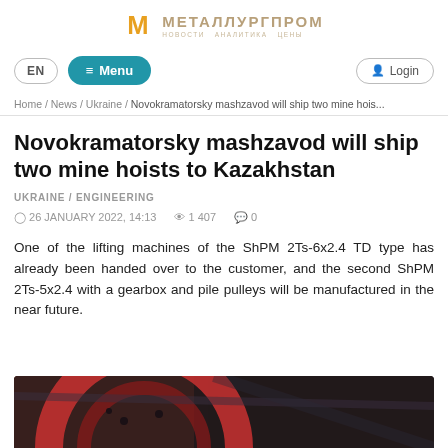[Figure (logo): Metallurgprom logo with gold M icon and Cyrillic brand name МЕТАЛЛУРГПРОМ]
EN  ≡ Menu  Login
Home / News / Ukraine / Novokramatorsky mashzavod will ship two mine hois...
Novokramatorsky mashzavod will ship two mine hoists to Kazakhstan
UKRAINE / ENGINEERING
26 JANUARY 2022, 14:13  1 407  0
One of the lifting machines of the ShPM 2Ts-6x2.4 TD type has already been handed over to the customer, and the second ShPM 2Ts-5x2.4 with a gearbox and pile pulleys will be manufactured in the near future.
[Figure (photo): Partial photograph of industrial mining hoist machinery showing red and dark mechanical components]